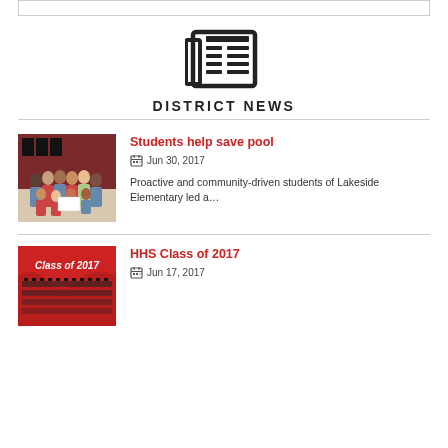[Figure (other): Top border box element]
[Figure (other): Newspaper/news icon - black outline newspaper icon]
DISTRICT NEWS
[Figure (photo): Group of school students holding a certificate/check, standing in front of a red wall display]
Students help save pool
Jun 30, 2017
Proactive and community-driven students of Lakeside Elementary led a…
[Figure (photo): Photo showing Class of 2017 text on red background with graduates in rows]
HHS Class of 2017
Jun 17, 2017